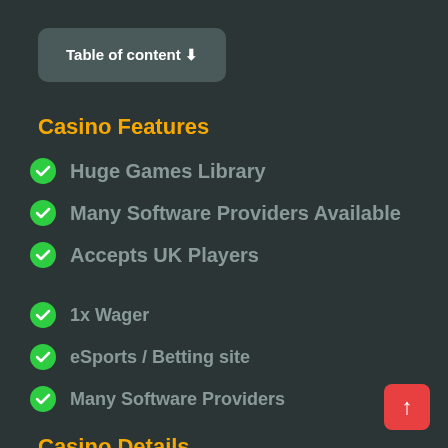Table of content ⬇
Casino Features
Huge Games Library
Many Software Providers Available
Accepts UK Players
1x Wager
eSports / Betting site
Many Software Providers
Casino Details